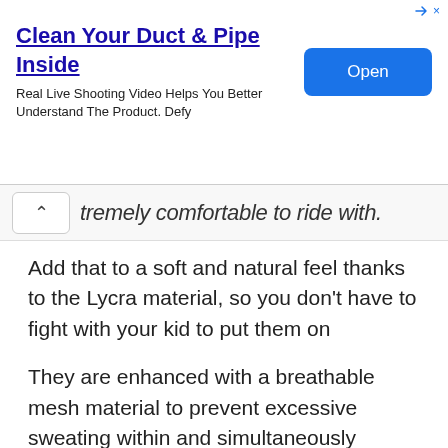[Figure (screenshot): Advertisement banner for 'Clean Your Duct & Pipe Inside' with an Open button]
tremely comfortable to ride with.
Add that to a soft and natural feel thanks to the Lycra material, so you don't have to fight with your kid to put them on
They are enhanced with a breathable mesh material to prevent excessive sweating within and simultaneously prevent the gloves from slipping off of the handlebars.
The breathability is more biased to the